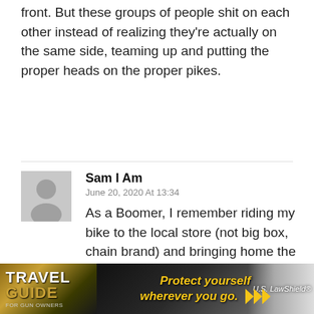front. But these groups of people shit on each other instead of realizing they're actually on the same side, teaming up and putting the proper heads on the proper pikes.
Sam I Am
June 20, 2020 At 13:34
As a Boomer, I remember riding my bike to the local store (not big box, chain brand) and bringing home the proverbial loaf of bread and half-gallon of milk, with change from my dollar. You don't think I see prices as outrageous? I left college with $600 student debt (state university). You don't think I am not outraged at the price of college today? Or that I am not
[Figure (advertisement): Travel Guide For Gun Owners ad banner with text 'Protect yourself wherever you go.' and US LawShield branding]